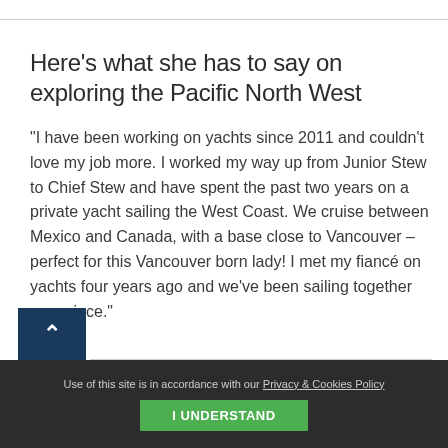Here's what she has to say on exploring the Pacific North West
"I have been working on yachts since 2011 and couldn't love my job more. I worked my way up from Junior Stew to Chief Stew and have spent the past two years on a private yacht sailing the West Coast. We cruise between Mexico and Canada, with a base close to Vancouver – perfect for this Vancouver born lady! I met my fiancé on yachts four years ago and we've been sailing together ever since."
Use of this site is in accordance with our Privacy & Cookies Policy
I UNDERSTAND